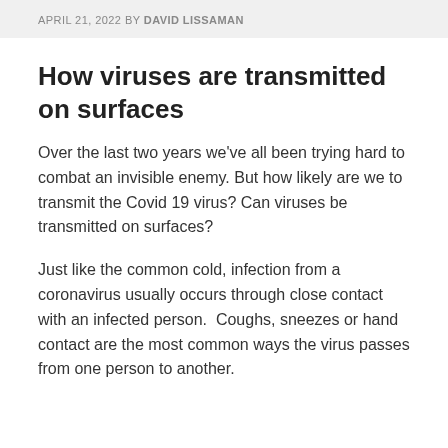APRIL 21, 2022 BY DAVID LISSAMAN
How viruses are transmitted on surfaces
Over the last two years we've all been trying hard to combat an invisible enemy. But how likely are we to transmit the Covid 19 virus? Can viruses be transmitted on surfaces?
Just like the common cold, infection from a coronavirus usually occurs through close contact with an infected person.  Coughs, sneezes or hand contact are the most common ways the virus passes from one person to another.